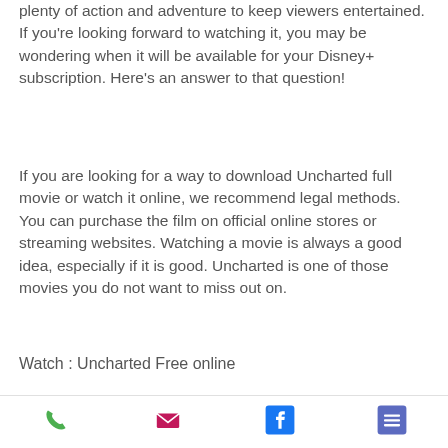plenty of action and adventure to keep viewers entertained. If you're looking forward to watching it, you may be wondering when it will be available for your Disney+ subscription. Here's an answer to that question!
If you are looking for a way to download Uncharted full movie or watch it online, we recommend legal methods. You can purchase the film on official online stores or streaming websites. Watching a movie is always a good idea, especially if it is good. Uncharted is one of those movies you do not want to miss out on.
Watch : Uncharted Free online
It is an American superhero film based on
[Figure (infographic): Footer icon bar with four icons: phone (green), email/envelope (pink/magenta), Facebook (blue), and a menu/list icon (blue-purple)]